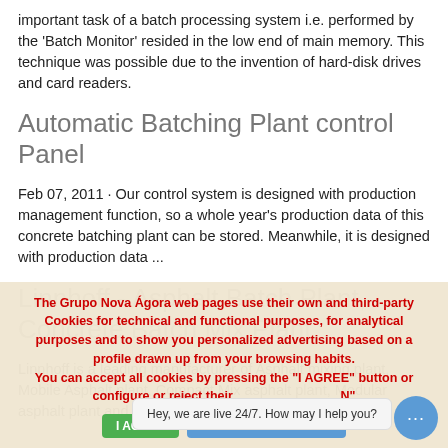important task of a batch processing system i.e. performed by the 'Batch Monitor' resided in the low end of main memory. This technique was possible due to the invention of hard-disk drives and card readers.
Automatic Batching Plant control Panel
Feb 07, 2011 · Our control system is designed with production management function, so a whole year's production data of this concrete batching plant can be stored. Meanwhile, it is designed with production data ...
Linnhoff - Asphalt Batch Plant, Concrete Batch Mix Plant
Linnhoff is a leading manufacturer of Asphalt mixing plant, Mobile Asphalt plant, Compact Mix asphalt plant, Modular asphalt plant and Containerized Asphalt Plant...
The Grupo Nova Ágora web pages use their own and third-party Cookies for technical and functional purposes, for analytical purposes and to show you personalized advertising based on a profile drawn up from your browsing habits.
You can accept all cookies by pressing the "I AGREE" button or configure or reject their ... N"
Hey, we are live 24/7. How may I help you?